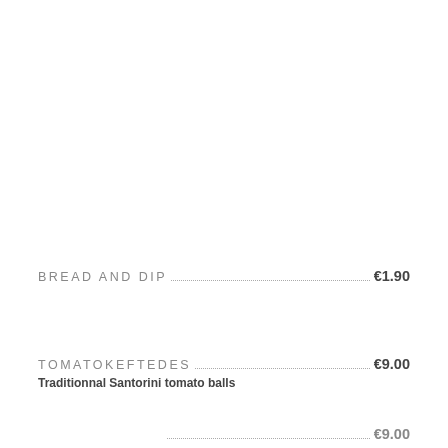BREAD AND DIP ... €1.90
TOMATOKEFTEDES ... €9.00
Traditionnal Santorini tomato balls
... €9.00